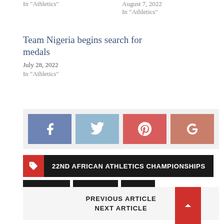In "Athletics"
August 7, 2022
In "Athletics"
Team Nigeria begins search for medals
July 28, 2022
In "Athletics"
[Figure (infographic): Social share buttons: Facebook, Twitter, Pinterest, Google+]
22ND AFRICAN ATHLETICS CHAMPIONSHIPS
AFRICAN   NIGERIA   WON
PREVIOUS ARTICLE
NEXT ARTICLE